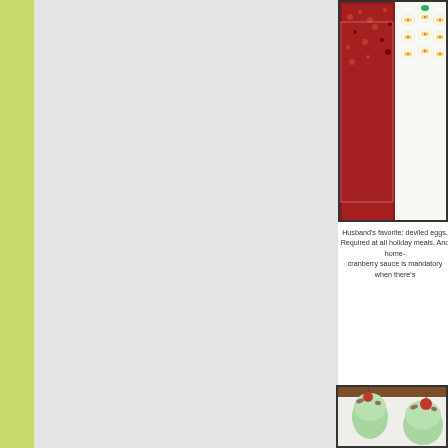[Figure (photo): Top photo showing cranberry sauce in a plastic container on the left and deviled eggs on a white plate on the right]
Husband's favorite: deviled eggs. Required at all holiday meals. And home- cranberry sauce is mandatory when there's
[Figure (photo): Two glass dessert cups filled with green Watergate salad topped with maraschino cherries and pecans, served on a white cloth]